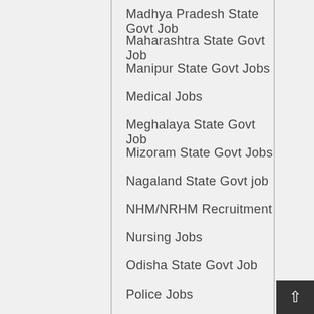Madhya Pradesh State Govt Job
Maharashtra State Govt Job
Manipur State Govt Jobs
Medical Jobs
Meghalaya State Govt Job
Mizoram State Govt Jobs
Nagaland State Govt job
NHM/NRHM Recruitment
Nursing Jobs
Odisha State Govt Job
Police Jobs